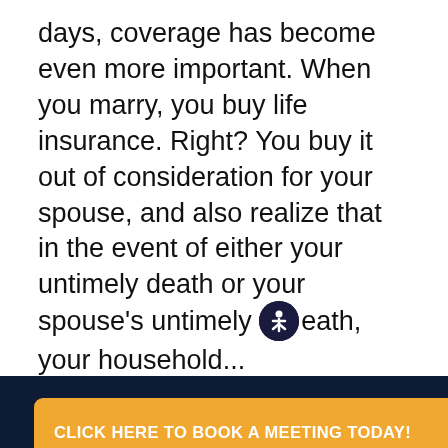days, coverage has become even more important. When you marry, you buy life insurance. Right? You buy it out of consideration for your spouse, and also realize that in the event of either your untimely death or your spouse's untimely death, your household...
Read More
CLICK HERE TO BOOK A MEETING TODAY!
ion
By David Nicholas | July 6, 2021
[Figure (other): Phone icon in dark navy footer bar at bottom of page]